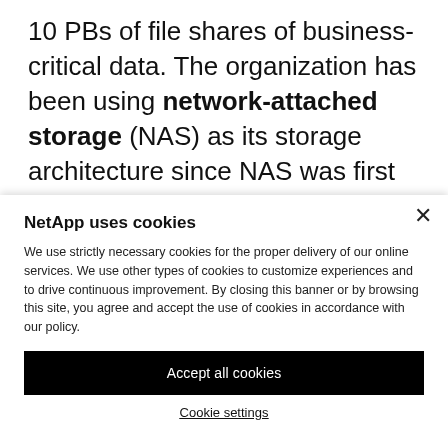10 PBs of file shares of business-critical data. The organization has been using network-attached storage (NAS) as its storage architecture since NAS was first introduced almost 25 years ago. The NAS backups are stored...
NetApp uses cookies

We use strictly necessary cookies for the proper delivery of our online services. We use other types of cookies to customize experiences and to drive continuous improvement. By closing this banner or by browsing this site, you agree and accept the use of cookies in accordance with our policy.
Accept all cookies
Cookie settings